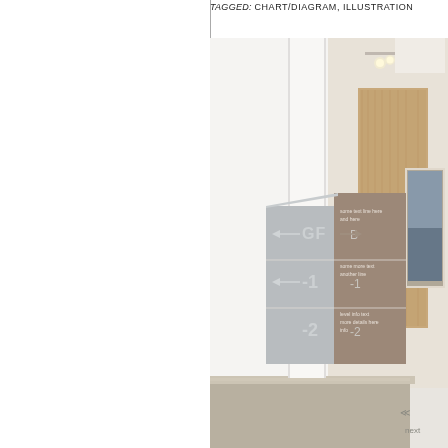TAGGED: CHART/DIAGRAM, ILLUSTRATION
[Figure (photo): Interior architectural photograph showing a building lobby or corridor with a wayfinding sign panel on a white wall. The sign panel is split into gray and taupe/brown halves and displays floor directory information with arrows and level numbers: GF (ground floor), -1 (basement 1), -2 (basement 2). Behind the panel, a warm wood-paneled wall is visible along with recessed ceiling lights and a framed artwork on the right side. In the foreground is a stone or concrete countertop surface.]